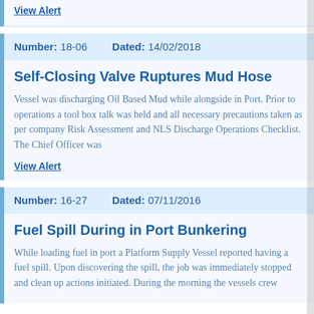View Alert
Number: 18-06    Dated: 14/02/2018
Self-Closing Valve Ruptures Mud Hose
Vessel was discharging Oil Based Mud while alongside in Port. Prior to operations a tool box talk was held and all necessary precautions taken as per company Risk Assessment and NLS Discharge Operations Checklist. The Chief Officer was
View Alert
Number: 16-27    Dated: 07/11/2016
Fuel Spill During in Port Bunkering
While loading fuel in port a Platform Supply Vessel reported having a fuel spill. Upon discovering the spill, the job was immediately stopped and clean up actions initiated. During the morning the vessels crew